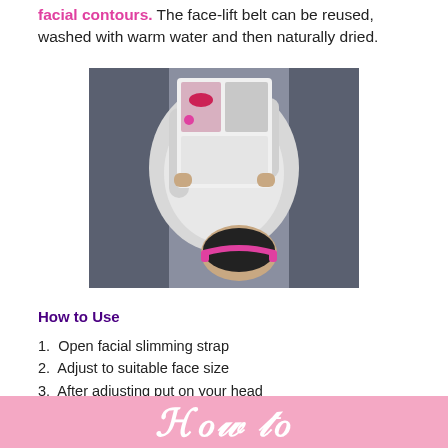facial contours. The face-lift belt can be reused, washed with warm water and then naturally dried.
[Figure (photo): Person lying down wearing a pink face-lift/slimming strap on their chin/jaw, holding up what appears to be a magazine or book above their face]
How to Use
1. Open facial slimming strap
2. Adjust to suitable face size
3. After adjusting put on your head
4. Start enjoying a different life
[Figure (illustration): Pink banner at the bottom with decorative white script/handwriting text]